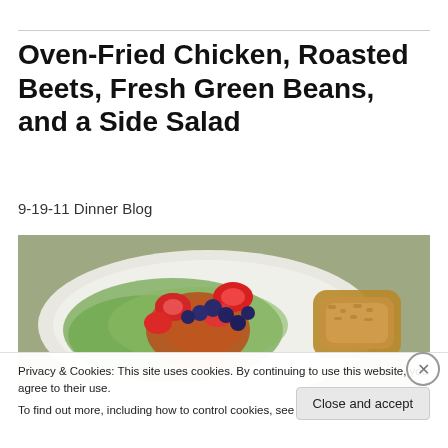Oven-Fried Chicken, Roasted Beets, Fresh Green Beans, and a Side Salad
9-19-11 Dinner Blog
[Figure (photo): A plate with a fresh green salad topped with strawberries and blueberries, roasted beets with glaze, and oven-fried chicken pieces on the side.]
Privacy & Cookies: This site uses cookies. By continuing to use this website, you agree to their use. To find out more, including how to control cookies, see here: Cookie Policy